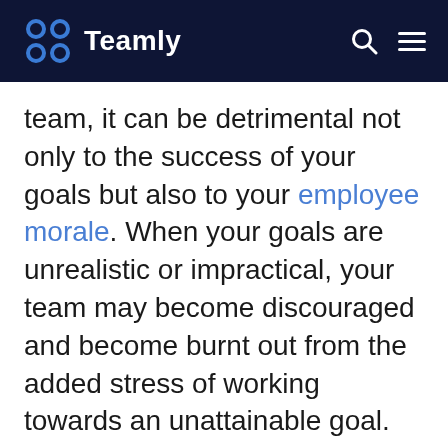Teamly
team, it can be detrimental not only to the success of your goals but also to your employee morale. When your goals are unrealistic or impractical, your team may become discouraged and become burnt out from the added stress of working towards an unattainable goal.
Use Teamly for free